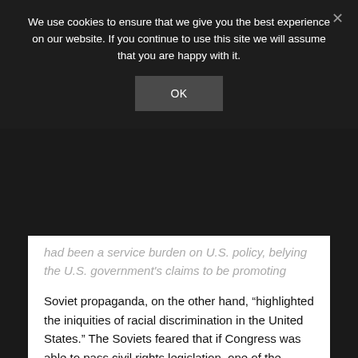We use cookies to ensure that we give you the best experience on our website. If you continue to use this site we will assume that you are happy with it.
OK
had been a service burden on U.S. policy, belying the U.S. government's claims to be promoting democracy and human rights….
Soviet propaganda, on the other hand, “highlighted the iniquities of racial discrimination in the United States.” The Soviets feared that if Congress was able to pass civil rights legislation, one of the major attacks would be undermined.
Service A used forgeries to depict King and other civil rights activists as “Uncle Toms” who were secretly colluding with the government. Later, they spread disinformation that